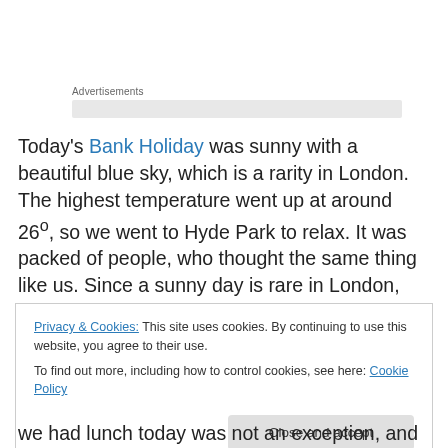Advertisements
Today's Bank Holiday was sunny with a beautiful blue sky, which is a rarity in London. The highest temperature went up at around 26º, so we went to Hyde Park to relax. It was packed of people, who thought the same thing like us. Since a sunny day is rare in London, whenever it is sunny, even though it lasts only short time, people crawl out of
Privacy & Cookies: This site uses cookies. By continuing to use this website, you agree to their use. To find out more, including how to control cookies, see here: Cookie Policy
Close and accept
we had lunch today was not an exception, and there was